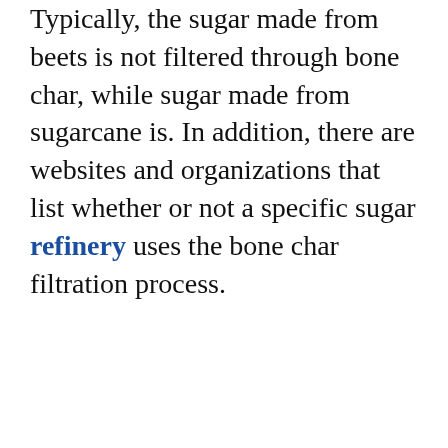Typically, the sugar made from beets is not filtered through bone char, while sugar made from sugarcane is. In addition, there are websites and organizations that list whether or not a specific sugar refinery uses the bone char filtration process.